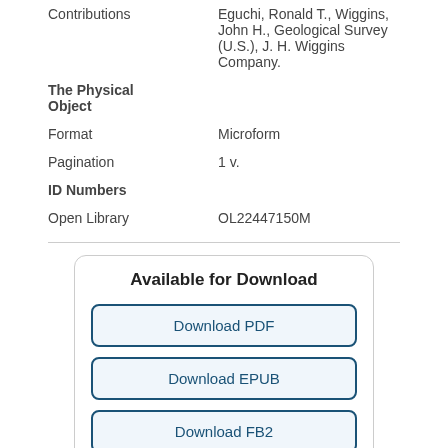| Contributions | Eguchi, Ronald T., Wiggins, John H., Geological Survey (U.S.), J. H. Wiggins Company. |
| The Physical Object |  |
| Format | Microform |
| Pagination | 1 v. |
| ID Numbers |  |
| Open Library | OL22447150M |
Available for Download
Download PDF
Download EPUB
Download FB2
Download (partial)